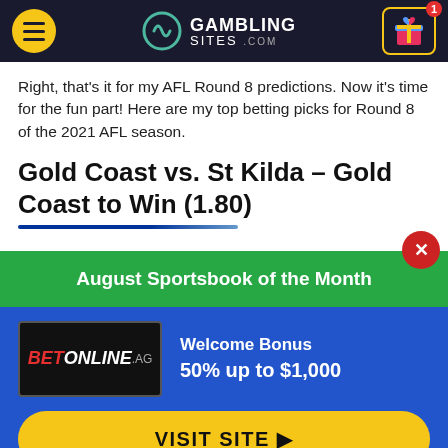GamblingSites.com
Right, that's it for my AFL Round 8 predictions. Now it's time for the fun part! Here are my top betting picks for Round 8 of the 2021 AFL season.
Gold Coast vs. St Kilda – Gold Coast to Win (1.80)
August Sportsbook of the Month
[Figure (logo): BetOnline.ag logo on black background]
Welcome Bonus
50% up to $1,000
VISIT SITE ▶